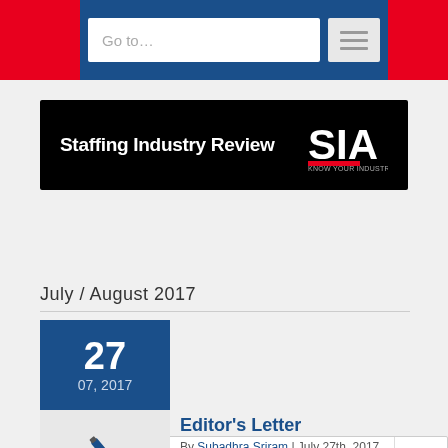Go to...
[Figure (logo): Staffing Industry Review banner with SIA logo on black background]
Go to...
July / August 2017
27
07, 2017
[Figure (illustration): Pen/quill icon on grey background]
Editor's Letter
By Subadhra Sriram | July 27th, 2017